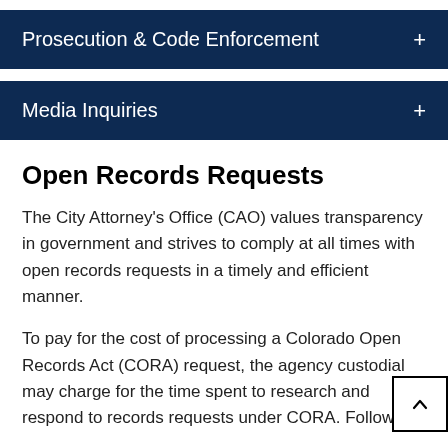Prosecution & Code Enforcement +
Media Inquiries +
Open Records Requests
The City Attorney's Office (CAO) values transparency in government and strives to comply at all times with open records requests in a timely and efficient manner.
To pay for the cost of processing a Colorado Open Records Act (CORA) request, the agency custodian may charge for the time spent to research and respond to records requests under CORA. Following